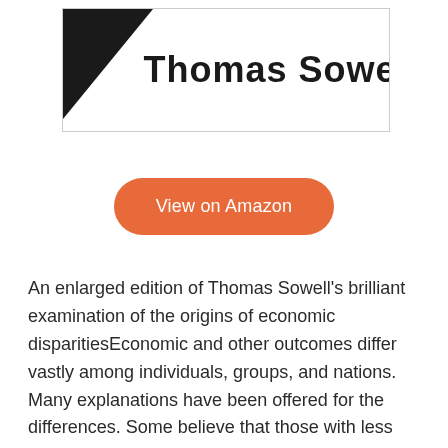[Figure (illustration): Book cover image with a black triangle in the top-left corner and the text 'Thomas Sowell' in bold black font on white background, with a light grey border.]
View on Amazon
An enlarged edition of Thomas Sowell's brilliant examination of the origins of economic disparitiesEconomic and other outcomes differ vastly among individuals, groups, and nations. Many explanations have been offered for the differences. Some believe that those with less fortunate outcomes are victims